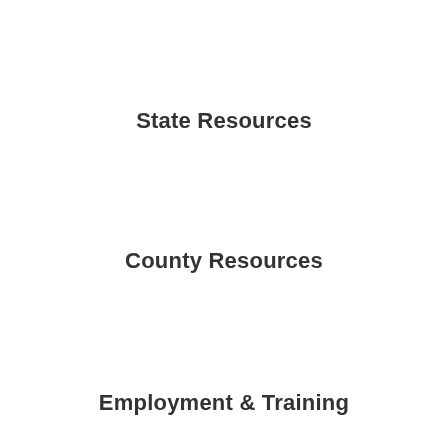State Resources
County Resources
Employment & Training